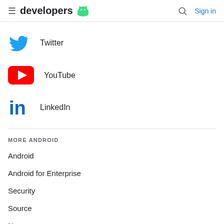developers — Sign in
Twitter
YouTube
LinkedIn
MORE ANDROID
Android
Android for Enterprise
Security
Source
News
Blog